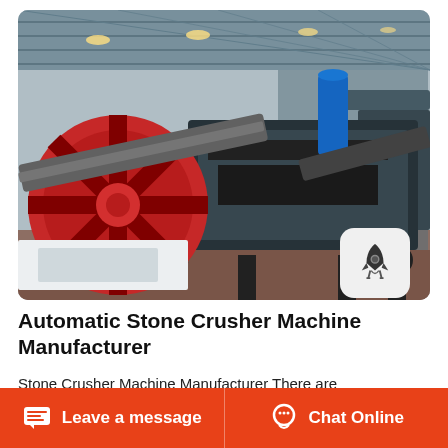[Figure (photo): Industrial stone crushing/washing facility interior showing a large red wheel crusher, conveyor belts, and heavy machinery inside a steel-roofed warehouse]
Automatic Stone Crusher Machine Manufacturer
Stone Crusher Machine Manufacturer There are countlesscrusher machine manufacturers around the world However Not all manufacturers are
Leave a message   Chat Online